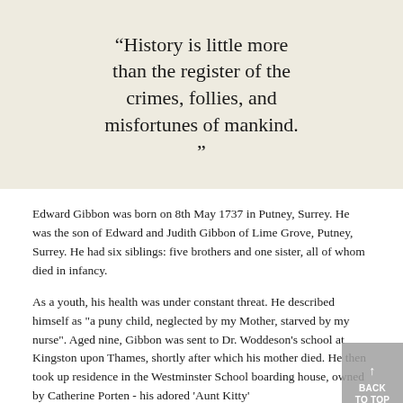"History is little more than the register of the crimes, follies, and misfortunes of mankind."
Edward Gibbon was born on 8th May 1737 in Putney, Surrey. He was the son of Edward and Judith Gibbon of Lime Grove, Putney, Surrey. He had six siblings: five brothers and one sister, all of whom died in infancy.
As a youth, his health was under constant threat. He described himself as "a puny child, neglected by my Mother, starved by my nurse". Aged nine, Gibbon was sent to Dr. Woddeson's school at Kingston upon Thames, shortly after which his mother died. He then took up residence in the Westminster School boarding house, owned by Catherine Porten - his adored 'Aunt Kitty'